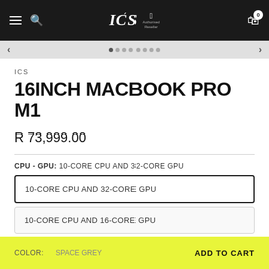ICS — Apple Authorised Reseller header bar
ICS
16INCH MACBOOK PRO M1
R 73,999.00
CPU - GPU: 10-CORE CPU AND 32-CORE GPU
10-CORE CPU AND 32-CORE GPU
10-CORE CPU AND 16-CORE GPU
Color: SPACE GREY   ADD TO CART